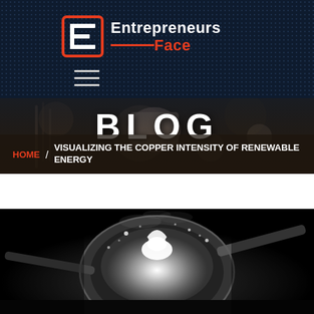Entrepreneurs Face
BLOG
HOME / VISUALIZING THE COPPER INTENSITY OF RENEWABLE ENERGY
[Figure (photo): Black and white photo of molten metal being poured from a ladle in an industrial/smelting setting, viewed from above]